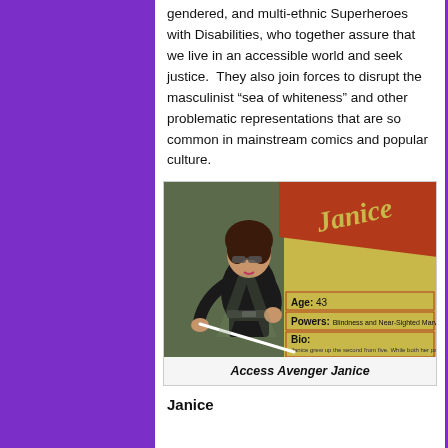gendered, and multi-ethnic Superheroes with Disabilities, who together assure that we live in an accessible world and seek justice. They also join forces to disrupt the masculinist “sea of whiteness” and other problematic representations that are so common in mainstream comics and popular culture.
[Figure (illustration): Illustrated character card for 'Janice', an Access Avenger. The card shows a plus-size woman in a black outfit with sunglasses, holding a white cane. The card has a yellow-green background with a red diagonal banner reading 'Janice'. Stats include Age: 43, Powers: (small text), Bio: (small text).]
Access Avenger Janice
Janice